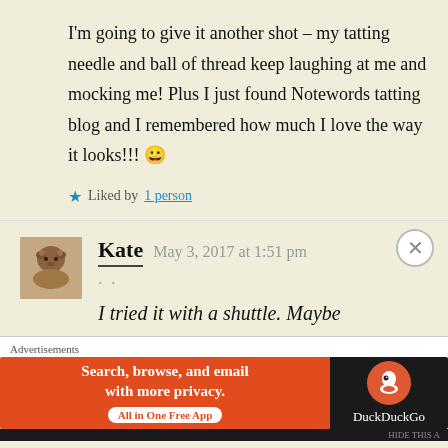I'm going to give it another shot – my tatting needle and ball of thread keep laughing at me and mocking me! Plus I just found Notewords tatting blog and I remembered how much I love the way it looks!!! 😀
★ Liked by 1 person
Kate  May 3, 2017 at 1:51 pm
I tried it with a shuttle. Maybe
Advertisements
[Figure (screenshot): DuckDuckGo advertisement banner: orange left section with text 'Search, browse, and email with more privacy. All in One Free App' and dark right section with DuckDuckGo logo and name]